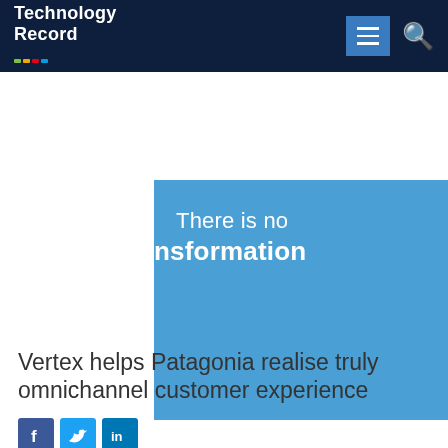Technology Record
[Figure (illustration): Blue banner image with white text reading 'There is no nsformation' (partially cropped text showing 'There is no' and 'nsformation')]
Vertex helps Patagonia realise truly omnichannel customer experience
[Figure (infographic): Social media sharing buttons: Facebook (f), Twitter (bird), LinkedIn (in)]